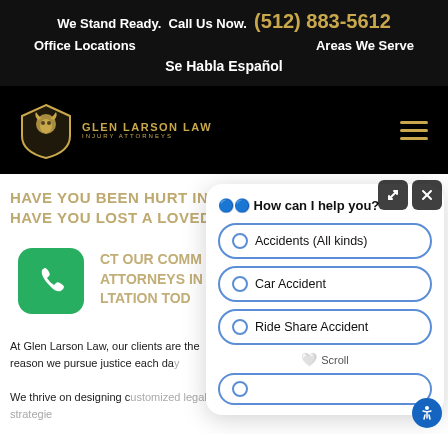We Stand Ready.  Call Us Now.  (512) 883-5612
Office Locations   Areas We Serve
Se Habla Español
[Figure (logo): Glen Larson Law Injury Attorneys logo — golden lion head with shield on black background]
HAVE YOU BEEN HURT IN AN ACCIDENT IN TEXAS?
HAVE YOU LOST A LOVED ONE DUE TO NEGLIGENCE?
CONTACT OUR COMPASSIONATE PERSONAL INJURY ATTORNEYS IN TEXAS FOR A FREE CONSULTATION TODAY
[Figure (screenshot): Chat popup widget asking 'How can I help you?' with options: Accidents (All kinds), Car Accident, Ride Share Accident, and a Scroll button]
At Glen Larson Law, our clients are the reason we pursue justice each day.
We thrive on designing customized legal strategie...